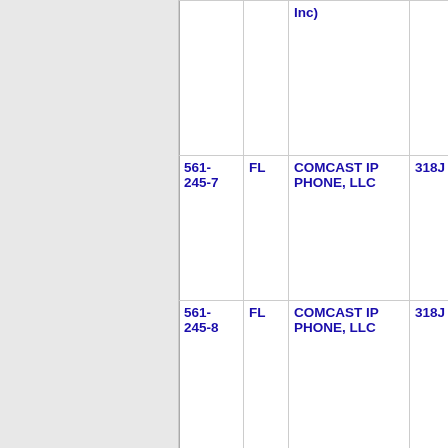| Phone | State | Company | Code | Extra |
| --- | --- | --- | --- | --- |
|  |  | Inc) |  |  |
| 561-245-7 | FL | COMCAST IP PHONE, LLC | 318J |  |
| 561-245-8 | FL | COMCAST IP PHONE, LLC | 318J |  |